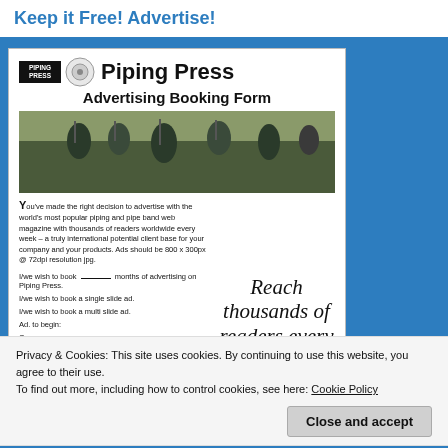Keep it Free! Advertise!
[Figure (illustration): Piping Press Advertising Booking Form card showing logo, band photo, form fields, and 'Reach thousands of readers every' promotional text]
Privacy & Cookies: This site uses cookies. By continuing to use this website, you agree to their use.
To find out more, including how to control cookies, see here: Cookie Policy
Close and accept